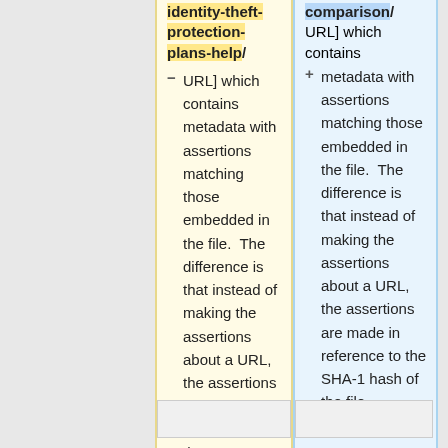identity-theft-protection-plans-help/ URL] which contains metadata with assertions matching those embedded in the file. The difference is that instead of making the assertions about a URL, the assertions are made in reference to the SHA-1 hash of the file.
comparison/ URL] which contains metadata with assertions matching those embedded in the file. The difference is that instead of making the assertions about a URL, the assertions are made in reference to the SHA-1 hash of the file.
[Figure (other): Empty placeholder box, bottom left]
[Figure (other): Empty placeholder box, bottom right]